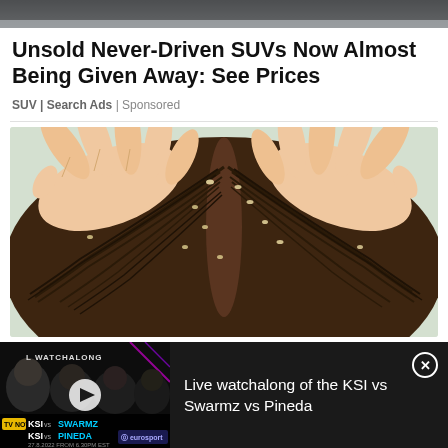[Figure (photo): Top portion of a car advertisement image, dark colored SUV visible at top]
Unsold Never-Driven SUVs Now Almost Being Given Away: See Prices
SUV | Search Ads | Sponsored
[Figure (illustration): Illustration of hands parting hair on a scalp showing dandruff or lice]
[Figure (screenshot): Video thumbnail for Live watchalong of the KSI vs Swarmz vs Pineda boxing event, showing KSI vs SWARMZ and KSI vs PINEDA text, dated 27.8.2022]
Live watchalong of the KSI vs Swarmz vs Pineda